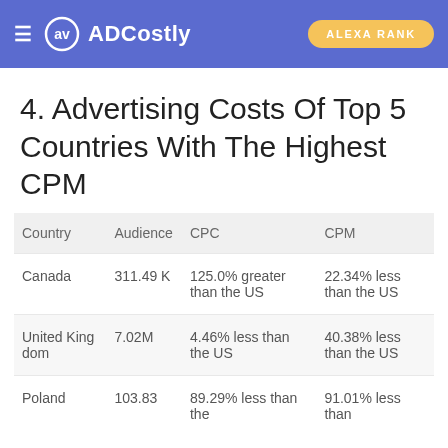ADCostly — ALEXA RANK
4. Advertising Costs Of Top 5 Countries With The Highest CPM
| Country | Audience | CPC | CPM |
| --- | --- | --- | --- |
| Canada | 311.49K | 125.0% greater than the US | 22.34% less than the US |
| United Kingdom | 7.02M | 4.46% less than the US | 40.38% less than the US |
| Poland | 103.83 | 89.29% less than the | 91.01% less than |